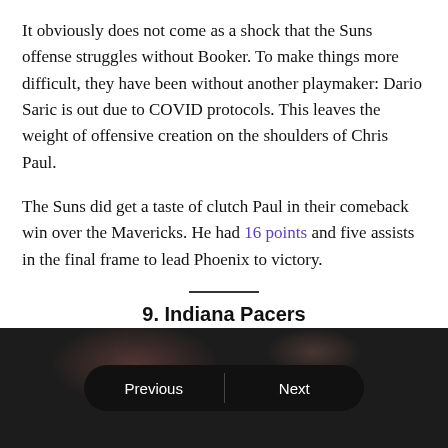It obviously does not come as a shock that the Suns offense struggles without Booker. To make things more difficult, they have been without another playmaker: Dario Saric is out due to COVID protocols. This leaves the weight of offensive creation on the shoulders of Chris Paul.
The Suns did get a taste of clutch Paul in their comeback win over the Mavericks. He had 16 points and five assists in the final frame to lead Phoenix to victory.
9. Indiana Pacers
22 OF 30
[Figure (photo): Dark blurred background image with Previous and Next navigation buttons in a black pill-shaped button at the bottom of the page.]